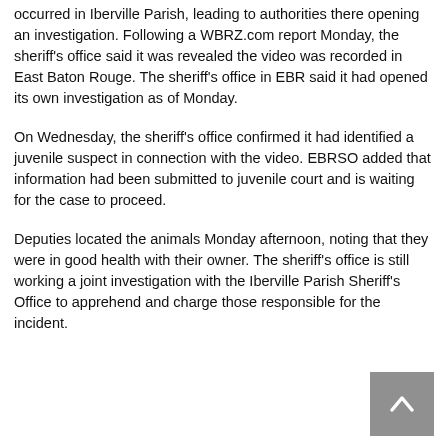occurred in Iberville Parish, leading to authorities there opening an investigation. Following a WBRZ.com report Monday, the sheriff's office said it was revealed the video was recorded in East Baton Rouge. The sheriff's office in EBR said it had opened its own investigation as of Monday.
On Wednesday, the sheriff's office confirmed it had identified a juvenile suspect in connection with the video. EBRSO added that information had been submitted to juvenile court and is waiting for the case to proceed.
Deputies located the animals Monday afternoon, noting that they were in good health with their owner. The sheriff's office is still working a joint investigation with the Iberville Parish Sheriff's Office to apprehend and charge those responsible for the incident.
[Figure (other): A gray square scroll-to-top button with a white upward arrow icon in the bottom-right corner of the page.]